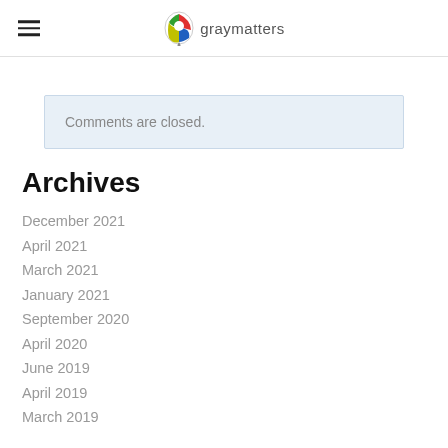graymatters
Comments are closed.
Archives
December 2021
April 2021
March 2021
January 2021
September 2020
April 2020
June 2019
April 2019
March 2019